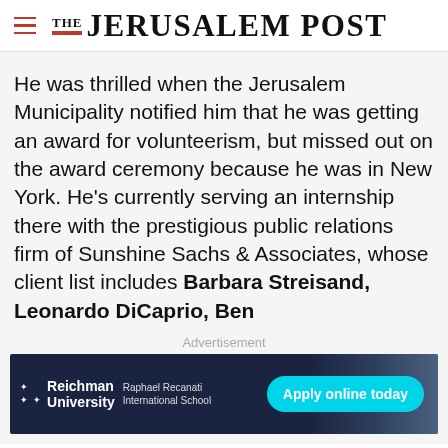THE JERUSALEM POST
He was thrilled when the Jerusalem Municipality notified him that he was getting an award for volunteerism, but missed out on the award ceremony because he was in New York. He’s currently serving an internship there with the prestigious public relations firm of Sunshine Sachs & Associates, whose client list includes Barbara Streisand, Leonardo DiCaprio, Ben
Advertisement
[Figure (other): Advertisement banner for Reichman University Raphael Recanati International School with Apply online today button]